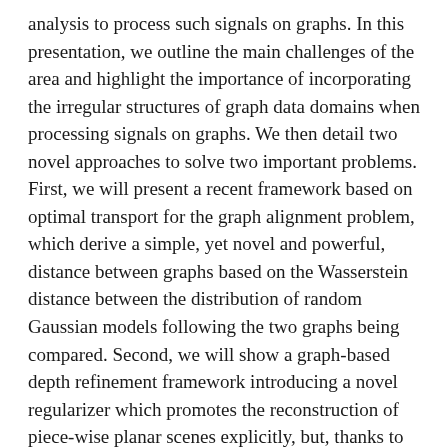analysis to process such signals on graphs. In this presentation, we outline the main challenges of the area and highlight the importance of incorporating the irregular structures of graph data domains when processing signals on graphs. We then detail two novel approaches to solve two important problems. First, we will present a recent framework based on optimal transport for the graph alignment problem, which derive a simple, yet novel and powerful, distance between graphs based on the Wasserstein distance between the distribution of random Gaussian models following the two graphs being compared. Second, we will show a graph-based depth refinement framework introducing a novel regularizer which promotes the reconstruction of piece-wise planar scenes explicitly, but, thanks to the graph underneath, it is flexible enough to handle non fully piece-wise planar scenes as well.
BIO: Mireille El Gheche received the Master degree in Radio-communication from Centrale Supélec in 2010 and the Ph.D